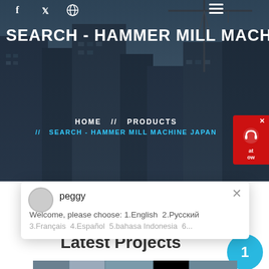[Figure (screenshot): Hero banner with city/construction background and social media icons at top]
SEARCH - HAMMER MILL MACHINE JAPAN
HOME // PRODUCTS
// SEARCH - HAMMER MILL MACHINE JAPAN
[Figure (illustration): Red chat support widget with headphone icon]
[Figure (screenshot): Chat popup with avatar 'peggy', text: Welcome, please choose: 1.English 2.Русский 3.Français 4.Español 5.bahasa Indonesia 6...]
Latest Projects
[Figure (photo): Construction/industrial machinery photo showing large equipment in a facility]